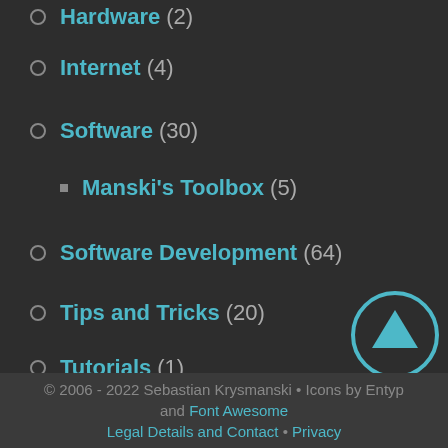Hardware (2)
Internet (4)
Software (30)
Manski's Toolbox (5)
Software Development (64)
Tips and Tricks (20)
Tutorials (1)
Web Design (1)
Videos (2)
[Figure (illustration): Back to top arrow icon with circle]
BACK TO TOP
[Figure (illustration): Chat/comments speech bubbles icon]
COMMENTS
[Figure (illustration): Archives box/drawer icon]
ARCHIVES
© 2006 - 2022 Sebastian Krysmanski • Icons by Entypo and Font Awesome Legal Details and Contact • Privacy